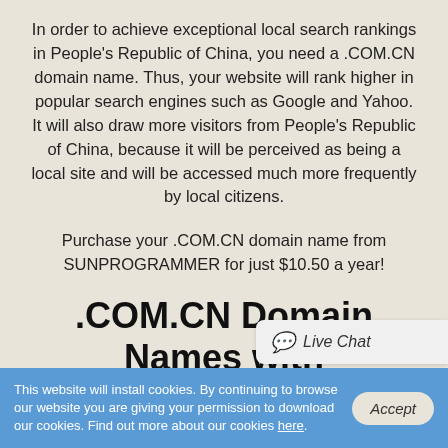In order to achieve exceptional local search rankings in People's Republic of China, you need a .COM.CN domain name. Thus, your website will rank higher in popular search engines such as Google and Yahoo. It will also draw more visitors from People's Republic of China, because it will be perceived as being a local site and will be accessed much more frequently by local citizens.
Purchase your .COM.CN domain name from SUNPROGRAMMER for just $10.50 a year!
.COM.CN Domain Names with SUNPROGRAMMER
If you decide to open a hosting account with
This website will install cookies. By continuing to browse our website you are giving your permission to download our cookies. Find out more about our cookies here.